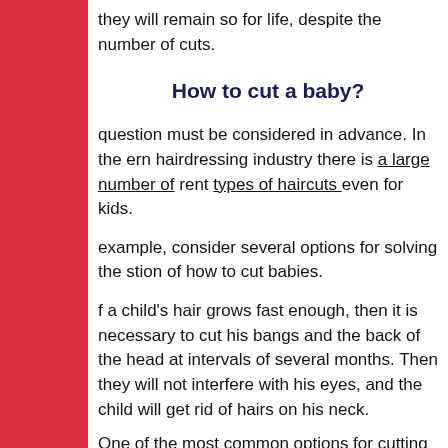they will remain so for life, despite the number of cuts.
How to cut a baby?
question must be considered in advance. In the ern hairdressing industry there is a large number of rent types of haircuts even for kids.
example, consider several options for solving the stion of how to cut babies.
f a child's hair grows fast enough, then it is necessary to cut his bangs and the back of the head at intervals of several months. Then they will not interfere with his eyes, and the child will get rid of hairs on his neck.
One of the most common options for cutting children